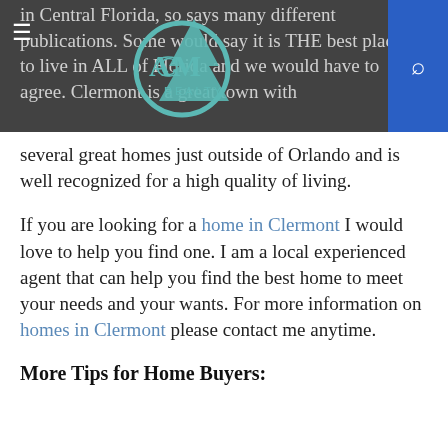CAM REALTY (logo/navigation header)
in Central Florida, so says many different publications. Some would say it is THE best place to live in ALL of Florida and we would have to agree. Clermont is a great town with several great homes just outside of Orlando and is well recognized for a high quality of living.
If you are looking for a home in Clermont I would love to help you find one. I am a local experienced agent that can help you find the best home to meet your needs and your wants. For more information on homes in Clermont please contact me anytime.
More Tips for Home Buyers: